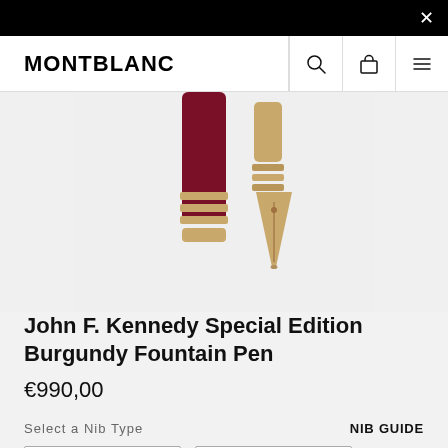×
[Figure (logo): MONTBLANC logo with search, cart, and menu icons in navigation bar]
[Figure (photo): Close-up of a burgundy and rose gold Montblanc fountain pen components — cap section and nib — on a light grey background]
John F. Kennedy Special Edition Burgundy Fountain Pen
€990,00
Select a Nib Type
NIB GUIDE
M
F